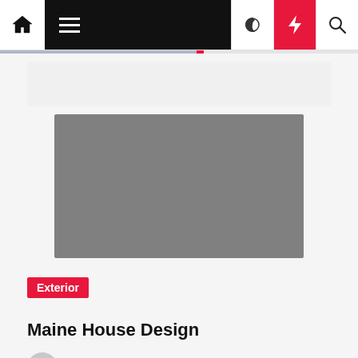Navigation bar with home, menu, dark mode, lightning, and search icons
[Figure (photo): Gray placeholder image for article]
Exterior
Maine House Design
Gertrude Aziz  3 years ago